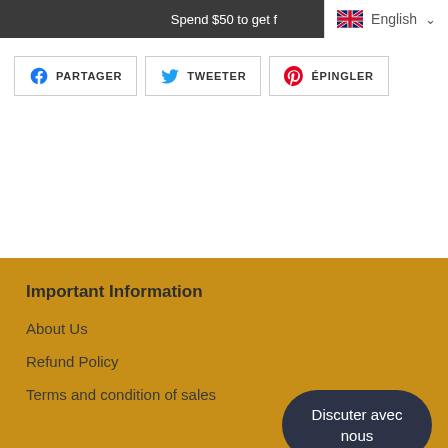Spend $50 to get f   English ▾
PARTAGER
TWEETER
ÉPINGLER
Important Information
About Us
Refund Policy
Terms and condition of sales
Discuter avec nous